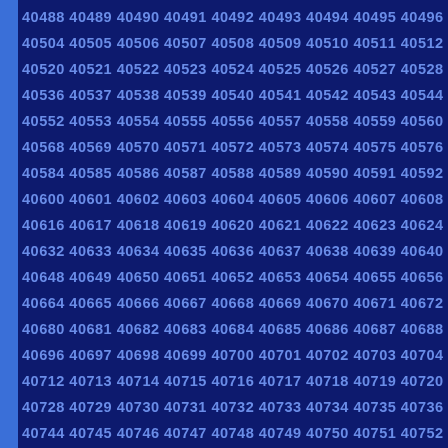40488 40489 40490 40491 40492 40493 40494 40495 40496 40497 40504 40505 40506 40507 40508 40509 40510 40511 40512 40513 40520 40521 40522 40523 40524 40525 40526 40527 40528 40529 40536 40537 40538 40539 40540 40541 40542 40543 40544 40545 40552 40553 40554 40555 40556 40557 40558 40559 40560 40561 40568 40569 40570 40571 40572 40573 40574 40575 40576 40577 40584 40585 40586 40587 40588 40589 40590 40591 40592 40593 40600 40601 40602 40603 40604 40605 40606 40607 40608 40609 40616 40617 40618 40619 40620 40621 40622 40623 40624 40625 40632 40633 40634 40635 40636 40637 40638 40639 40640 40641 40648 40649 40650 40651 40652 40653 40654 40655 40656 40657 40664 40665 40666 40667 40668 40669 40670 40671 40672 40673 40680 40681 40682 40683 40684 40685 40686 40687 40688 40689 40696 40697 40698 40699 40700 40701 40702 40703 40704 40705 40712 40713 40714 40715 40716 40717 40718 40719 40720 40721 40728 40729 40730 40731 40732 40733 40734 40735 40736 40737 40744 40745 40746 40747 40748 40749 40750 40751 40752 40753 40760 40761 40762 40763 40764 40765 40766 40767 40768 40769 40776 40777 40778 40779 40780 40781 40782 40783 40784 40785